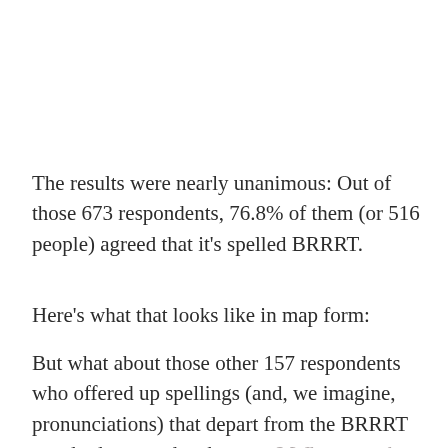The results were nearly unanimous: Out of those 673 respondents, 76.8% of them (or 516 people) agreed that it's spelled BRRRT.
Here's what that looks like in map form:
But what about those other 157 respondents who offered up spellings (and, we imagine, pronunciations) that depart from the BRRRT standard our readers have set? Where are they from, and how do they spell the sound an A-10 makes?